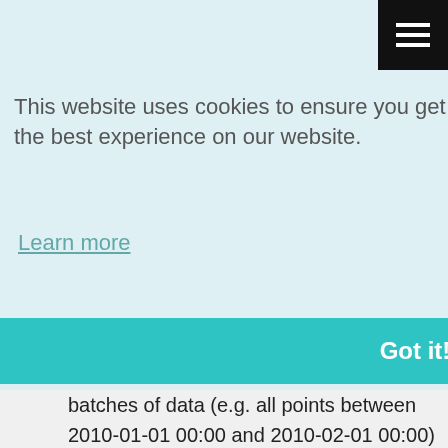[Figure (screenshot): Cookie consent banner with light blue background showing 'This website uses cookies to ensure you get the best experience on our website.' with a 'Learn more' link and a teal 'Got it!' button. A black hamburger menu button is in the top right corner.]
point.
on't
ey can
or
batches of data (e.g. all points between 2010-01-01 00:00 and 2010-02-01 00:00) and rarely for particular point.
storage - depending on the underlying storage, the
X
[Figure (logo): Become a Data Engineer logo - blue arrow icon with text]
You want to learn data engineering but have no idea where and how to start in this wide domain? Check Become a Data Engineer course, it can help you 🙂
➡ Join the class!